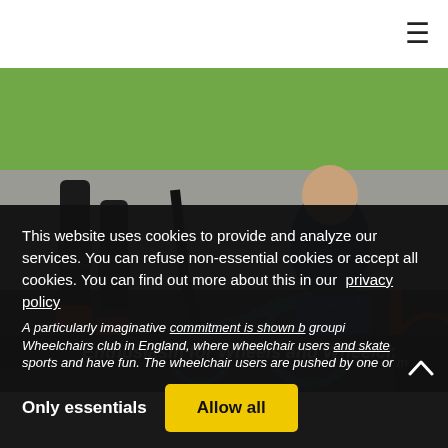[Figure (photo): Outdoor photo showing a person on inline skates pushing a person in a teal/blue wheelchair along a path, with green grass in the background. A second wheelchair is partially visible on the right side.]
This website uses cookies to provide and analyze our services. You can refuse non-essential cookies or accept all cookies. You can find out more about this in our privacy policy
Enthusiasm for Wheels and Wheelchairs
A particularly imaginative commitment is shown by a grouping Wheelchairs club in England, where wheelchair users and skate sports and have fun. The wheelchair users are pushed by one or m
Only essentials
Allow all